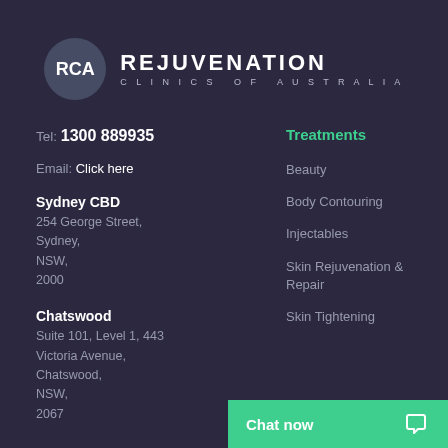[Figure (logo): RCA Rejuvenation Clinics of Australia logo with circular badge and text]
Tel: 1300 889935
Email: Click here
Sydney CBD
254 George Street, Sydney, NSW, 2000
Chatswood
Suite 101, Level 1, 443 Victoria Avenue, Chatswood, NSW, 2067
Treatments
Beauty
Body Contouring
Injectables
Skin Rejuvenation & Repair
Skin Tightening
Chat now